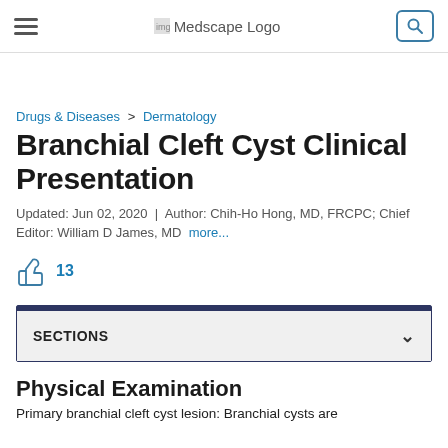Medscape Logo
Drugs & Diseases > Dermatology
Branchial Cleft Cyst Clinical Presentation
Updated: Jun 02, 2020 | Author: Chih-Ho Hong, MD, FRCPC; Chief Editor: William D James, MD more...
13
SECTIONS
Physical Examination
Primary branchial cleft cyst lesion: Branchial cysts are